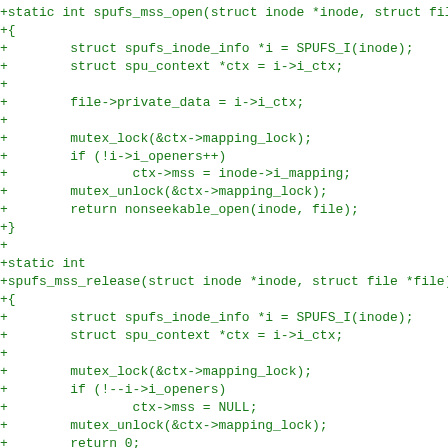+static int spufs_mss_open(struct inode *inode, struct file *
+{
+        struct spufs_inode_info *i = SPUFS_I(inode);
+        struct spu_context *ctx = i->i_ctx;
+
+        file->private_data = i->i_ctx;
+
+        mutex_lock(&ctx->mapping_lock);
+        if (!i->i_openers++)
+                ctx->mss = inode->i_mapping;
+        mutex_unlock(&ctx->mapping_lock);
+        return nonseekable_open(inode, file);
+}
+
+static int
+spufs_mss_release(struct inode *inode, struct file *file)
+{
+        struct spufs_inode_info *i = SPUFS_I(inode);
+        struct spu_context *ctx = i->i_ctx;
+
+        mutex_lock(&ctx->mapping_lock);
+        if (!--i->i_openers)
+                ctx->mss = NULL;
+        mutex_unlock(&ctx->mapping_lock);
+        return 0;